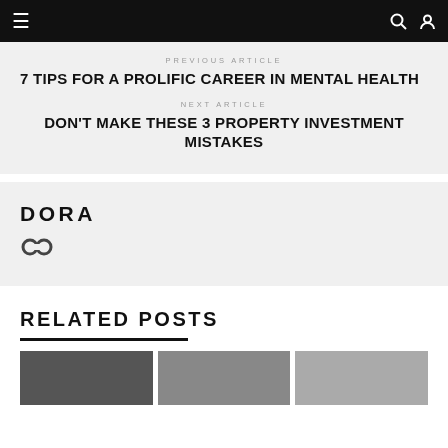Navigation bar with hamburger menu, search and user icons
PREVIOUS ARTICLE
7 TIPS FOR A PROLIFIC CAREER IN MENTAL HEALTH
NEXT ARTICLE
DON'T MAKE THESE 3 PROPERTY INVESTMENT MISTAKES
DORA
[Figure (other): Chain link / share icon]
RELATED POSTS
[Figure (photo): Three thumbnail images for related posts]